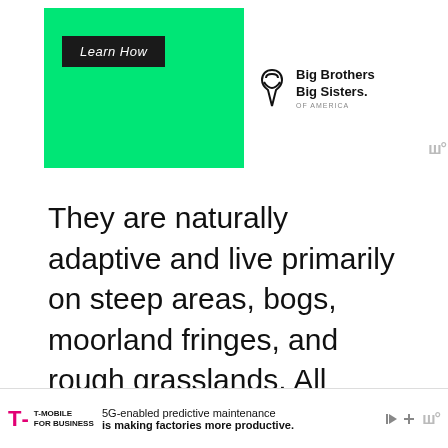[Figure (screenshot): Top advertisement banner for Big Brothers Big Sisters of America on green background with 'Learn How' button]
They are naturally adaptive and live primarily on steep areas, bogs, moorland fringes, and rough grasslands. All sheep need water, shelter, and a large grassy pasture to graze on. They have an excellent social instinct and a flock mentality, which means they bond well with other sheep in their flock and often other animals too.
Their only defense mechanism during danger is
[Figure (screenshot): Bottom advertisement banner for T-Mobile for Business: '5G-enabled predictive maintenance is making factories more productive.']